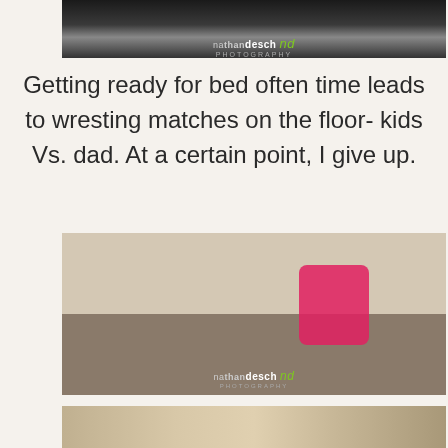[Figure (photo): Top portion of a photograph showing a dark scene with nathandesch photography watermark/logo at the bottom center]
Getting ready for bed often time leads to wresting matches on the floor- kids Vs. dad. At a certain point, I give up.
[Figure (photo): Indoor photograph of a woman in a pink/magenta hoodie sitting on the floor reading a book to three young children in what appears to be a children's bedroom with book shelves on the wall. Nathandesch photography watermark visible at bottom.]
[Figure (photo): Partial bottom photograph showing the top of a child's head with red/auburn hair and bookshelves in the background]